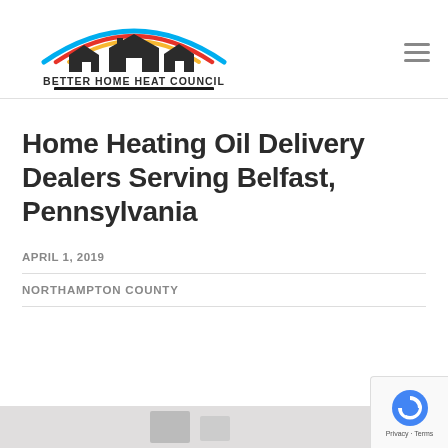[Figure (logo): Better Home Heat Council of the Lehigh Valley logo with colorful arc and house silhouette]
Home Heating Oil Delivery Dealers Serving Belfast, Pennsylvania
APRIL 1, 2019
NORTHAMPTON COUNTY
[Figure (photo): Partial bottom image strip, content cut off]